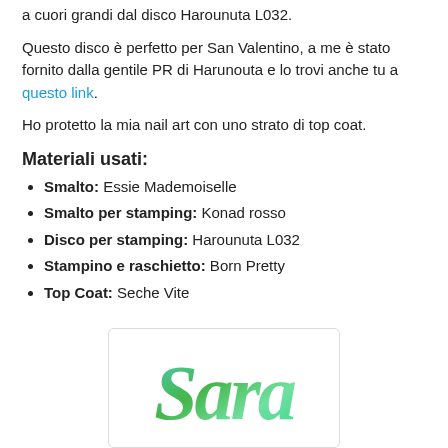a cuori grandi dal disco Harounuta L032.
Questo disco è perfetto per San Valentino, a me è stato fornito dalla gentile PR di Harunouta e lo trovi anche tu a questo link.
Ho protetto la mia nail art con uno strato di top coat.
Materiali usati:
Smalto: Essie Mademoiselle
Smalto per stamping: Konad rosso
Disco per stamping: Harounuta L032
Stampino e raschietto: Born Pretty
Top Coat: Seche Vite
[Figure (illustration): Cursive handwritten-style signature reading 'Sara' in green gradient tones on a white rounded rectangle card]